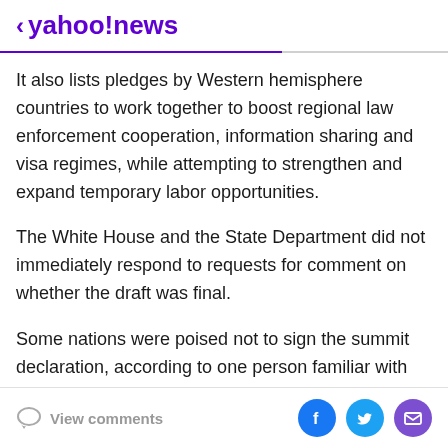< yahoo!news
It also lists pledges by Western hemisphere countries to work together to boost regional law enforcement cooperation, information sharing and visa regimes, while attempting to strengthen and expand temporary labor opportunities.
The White House and the State Department did not immediately respond to requests for comment on whether the draft was final.
Some nations were poised not to sign the summit declaration, according to one person familiar with the matter. Some Caribbean countries would not approve it, an official at the summit said.
View comments